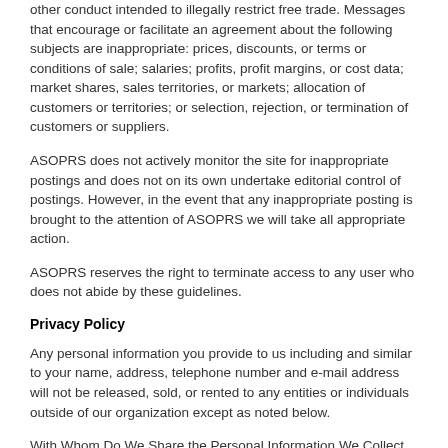other conduct intended to illegally restrict free trade. Messages that encourage or facilitate an agreement about the following subjects are inappropriate: prices, discounts, or terms or conditions of sale; salaries; profits, profit margins, or cost data; market shares, sales territories, or markets; allocation of customers or territories; or selection, rejection, or termination of customers or suppliers.
ASOPRS does not actively monitor the site for inappropriate postings and does not on its own undertake editorial control of postings. However, in the event that any inappropriate posting is brought to the attention of ASOPRS we will take all appropriate action.
ASOPRS reserves the right to terminate access to any user who does not abide by these guidelines.
Privacy Policy
Any personal information you provide to us including and similar to your name, address, telephone number and e-mail address will not be released, sold, or rented to any entities or individuals outside of our organization except as noted below.
With Whom Do We Share the Personal Information We Collect Through This Site:
Government and Legal Disclosures